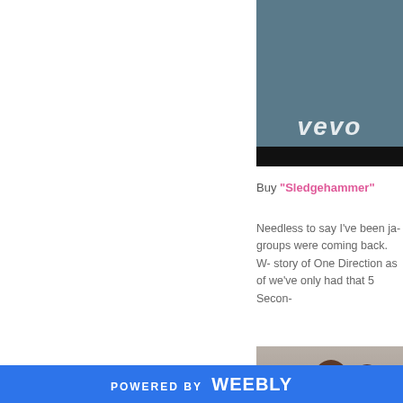[Figure (screenshot): Vevo video player screenshot showing dark blue-gray background with 'vevo' logo text and black bar at bottom]
Buy "Sledgehammer"
Needless to say I've been ja- groups were coming back. W- story of One Direction as of we've only had that 5 Secon-
[Figure (photo): Photo of three young women/girls posing together against a light gray background]
POWERED BY weebly